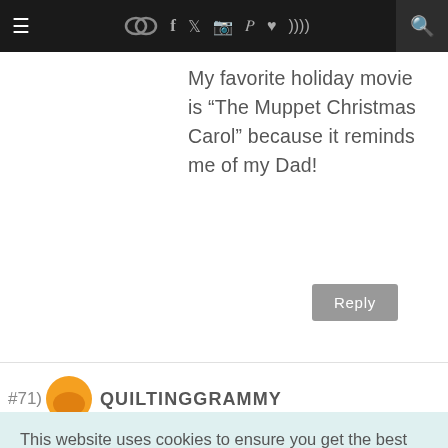≡  [chat icon] f [twitter] [instagram] [pinterest] [heart] [rss]  [search]
My favorite holiday movie is "The Muppet Christmas Carol" because it reminds me of my Dad!
Reply
#71) QUILTINGGRAMMY
This website uses cookies to ensure you get the best experience on our website. Learn more
Got it!